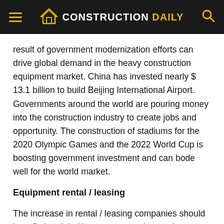CONSTRUCTION DAILY
result of government modernization efforts can drive global demand in the heavy construction equipment market. China has invested nearly $ 13.1 billion to build Beijing International Airport. Governments around the world are pouring money into the construction industry to create jobs and opportunity. The construction of stadiums for the 2020 Olympic Games and the 2022 World Cup is boosting government investment and can bode well for the world market.
Equipment rental / leasing
The increase in rental / leasing companies should benefit the global heavy construction equipment market. Customers can lease earthmoving machines based on their preferences and construction plans. Building contractors can acquire high-